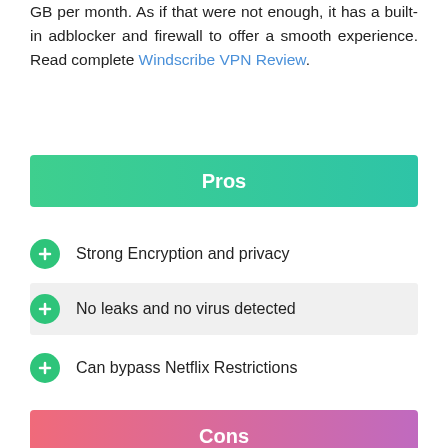GB per month. As if that were not enough, it has a built-in adblocker and firewall to offer a smooth experience. Read complete Windscribe VPN Review.
Pros
Strong Encryption and privacy
No leaks and no virus detected
Can bypass Netflix Restrictions
Cons